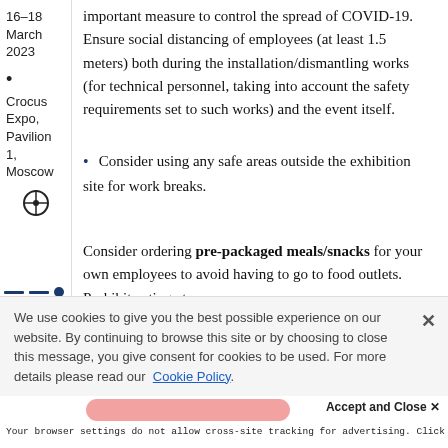16–18 March 2023 • Crocus Expo, Pavilion 1, Moscow
important measure to control the spread of COVID-19. Ensure social distancing of employees (at least 1.5 meters) both during the installation/dismantling works (for technical personnel, taking into account the safety requirements set to such works) and the event itself.
Consider using any safe areas outside the exhibition site for work breaks.
Consider ordering pre-packaged meals/snacks for your own employees to avoid having to go to food outlets. Prohibit eating at
We use cookies to give you the best possible experience on our website. By continuing to browse this site or by choosing to close this message, you give consent for cookies to be used. For more details please read our Cookie Policy.
Accept and Close ×
Your browser settings do not allow cross-site tracking for advertising. Click on this page to allow AdRoll to use cross-site tracking to tailor ads to you. Learn more or opt out of this AdRoll tracking by clicking here. This message only appears once.